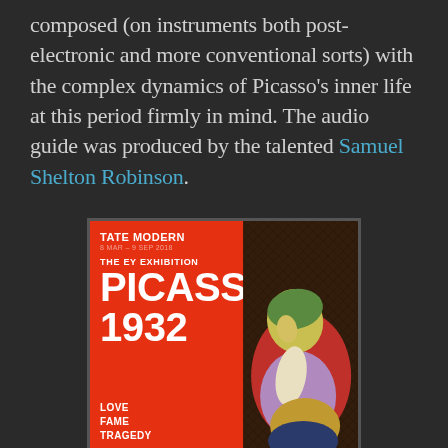composed (on instruments both post-electronic and more conventional sorts) with the complex dynamics of Picasso's inner life at this period firmly in mind. The audio guide was produced by the talented Samuel Shelton Robinson.
[Figure (illustration): Tate Modern exhibition poster for 'The EY Exhibition: Picasso 1932 – Love, Fame, Tragedy'. Red background with white text showing the exhibition title, dates (8 Mar – 9 Sep 2018), and a painting of a sleeping woman (Picasso artwork) on the right side.]